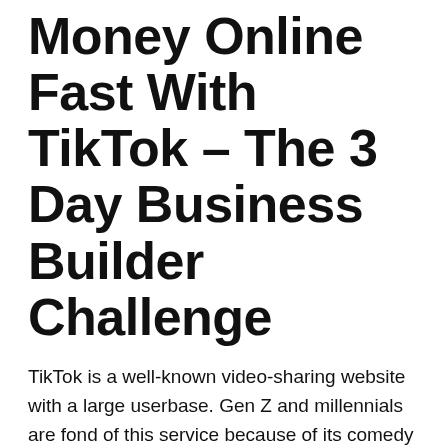Money Online Fast With TikTok – The 3 Day Business Builder Challenge
TikTok is a well-known video-sharing website with a large userbase. Gen Z and millennials are fond of this service because of its comedy videos and lip-syncing. TikTok allows you to make money online by uploading your own videos. Although there isn't a pay per view or revenue sharing model, creators can earn money by landing sponsorship deals and brand agreements.